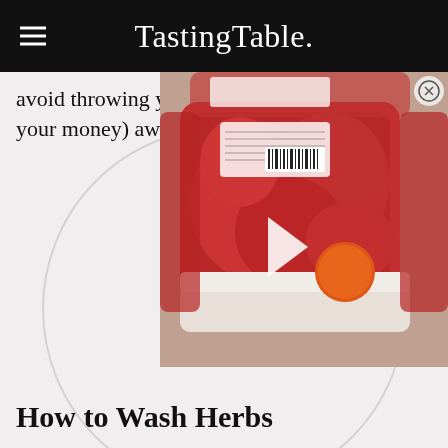Tasting Table.
avoid throwing your herbs (and your money) away.
[Figure (photo): Packaged raw ground beef/meat on grocery store trays with price stickers and barcodes visible, overlaid on a circular video player interface with a play button]
How to Wash Herbs